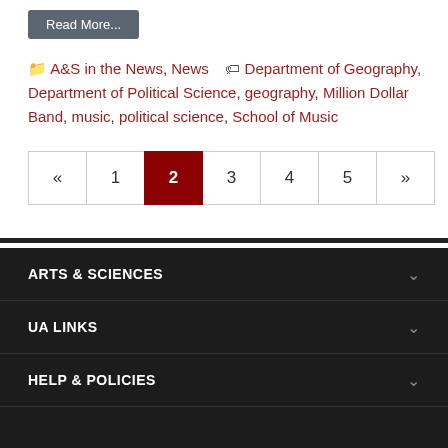[Figure (other): Read More button in grey/dark background]
A&S in the News, News  Department of Geography, Department of Political Science, geography, Million Dollar Band, music, political science, School of Music
« 1 2 3 4 5 »  (pagination)
ARTS & SCIENCES
UA LINKS
HELP & POLICIES